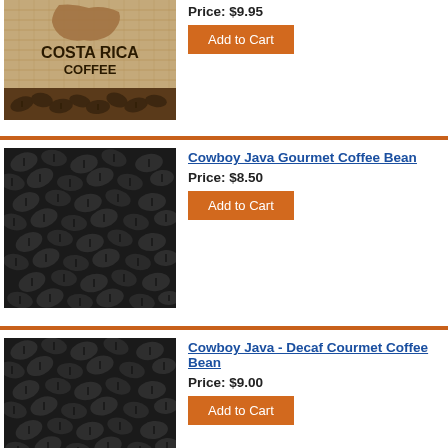[Figure (photo): Costa Rica Coffee product image showing burlap bag with map of Costa Rica and text COSTA RICA COFFEE]
Price: $9.95
Add to Cart
[Figure (photo): Dark roasted coffee beans close-up photo]
Cowboy Java Gourmet Coffee Bean
Price: $8.50
Add to Cart
[Figure (photo): Dark roasted coffee beans close-up photo]
Cowboy Java - Decaf Courmet Coffee Bean
Price: $9.00
Add to Cart